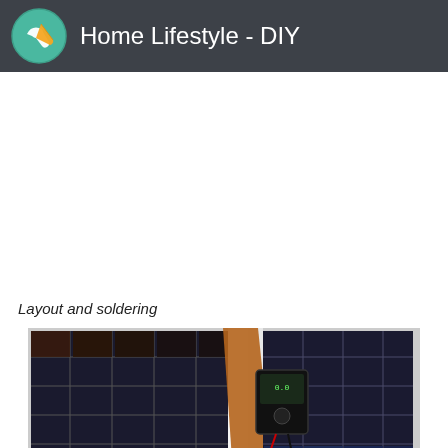Home Lifestyle - DIY
Layout and soldering
[Figure (photo): Solar panel cells laid out on a white surface with a brown wooden divider and a small multimeter device with red and black wires in the center. The solar cells appear dark blue/black in a grid pattern.]